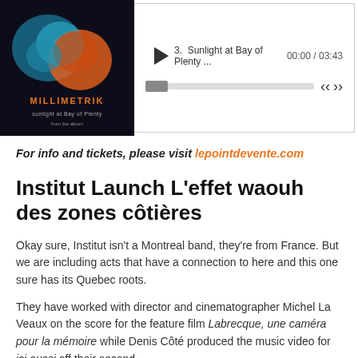[Figure (screenshot): Music player widget showing album art for Millimetrik 'Sunlight at Bay of Plenty' with play button, progress bar, and transport controls. Track 3 shown, time 00:00 / 03:43.]
For info and tickets, please visit lepointdevente.com
Institut Launch L'effet waouh des zones côtières
Okay sure, Institut isn't a Montreal band, they're from France. But we are including acts that have a connection to here and this one sure has its Quebec roots.
They have worked with director and cinematographer Michel La Veaux on the score for the feature film Labrecque, une caméra pour la mémoire while Denis Côté produced the music video for ici aussi off their second